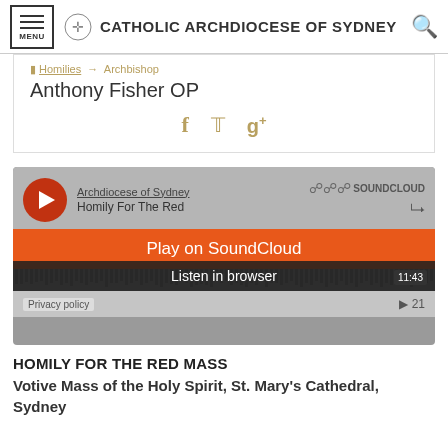CATHOLIC ARCHDIOCESE OF SYDNEY
Homilies → Archbishop Anthony Fisher OP
[Figure (screenshot): SoundCloud embedded audio player for 'Archdiocese of Sydney – Homily For The Red...' with orange 'Play on SoundCloud' overlay button and 'Listen in browser' dark bar, showing timestamp 11:43 and play count 21]
HOMILY FOR THE RED MASS
Votive Mass of the Holy Spirit, St. Mary's Cathedral, Sydney